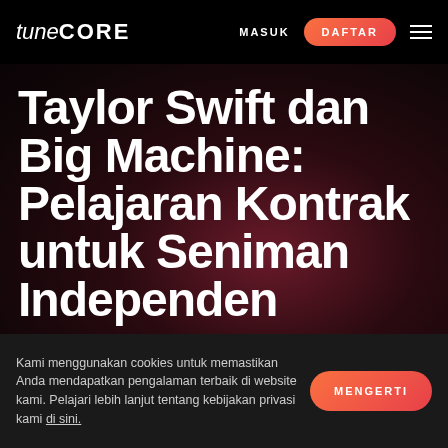tuneCORE   MASUK   DAFTAR
Taylor Swift dan Big Machine: Pelajaran Kontrak untuk Seniman Independen
Kami menggunakan cookies untuk memastikan Anda mendapatkan pengalaman terbaik di website kami. Pelajari lebih lanjut tentang kebijakan privasi kami di sini.
MENGERTI